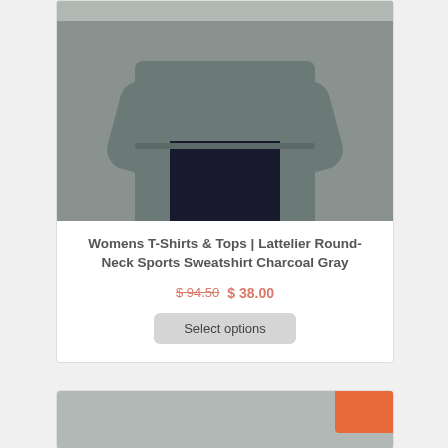[Figure (photo): Woman wearing a charcoal gray round-neck sports sweatshirt with black leggings, shown from upper body down]
Womens T-Shirts & Tops | Lattelier Round-Neck Sports Sweatshirt Charcoal Gray
$ 94.50 $ 38.00
Select options
[Figure (photo): Partial view of a second product card showing a gray garment with an orange badge in the top right corner]